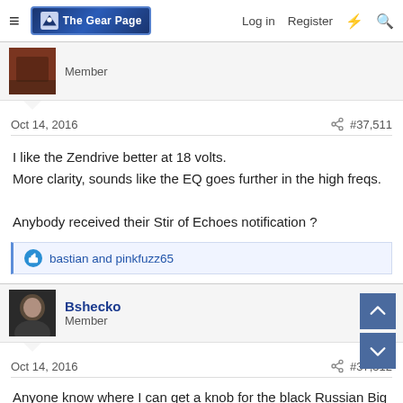The Gear Page - Log in | Register
Member
Oct 14, 2016   #37,511
I like the Zendrive better at 18 volts.
More clarity, sounds like the EQ goes further in the high freqs.

Anybody received their Stir of Echoes notification ?
bastian and pinkfuzz65
Bshecko
Member
Oct 14, 2016   #37,512
Anyone know where I can get a knob for the black Russian Big Muff